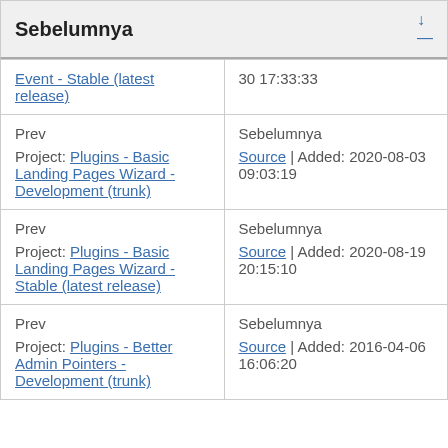Sebelumnya
| (left col) | (right col) |
| --- | --- |
| Event - Stable (latest release) | 30 17:33:33 |
| Prev
Project: Plugins - Basic Landing Pages Wizard - Development (trunk) | Sebelumnya
Source | Added: 2020-08-03 09:03:19 |
| Prev
Project: Plugins - Basic Landing Pages Wizard - Stable (latest release) | Sebelumnya
Source | Added: 2020-08-19 20:15:10 |
| Prev
Project: Plugins - Better Admin Pointers - Development (trunk) | Sebelumnya
Source | Added: 2016-04-06 16:06:20 |